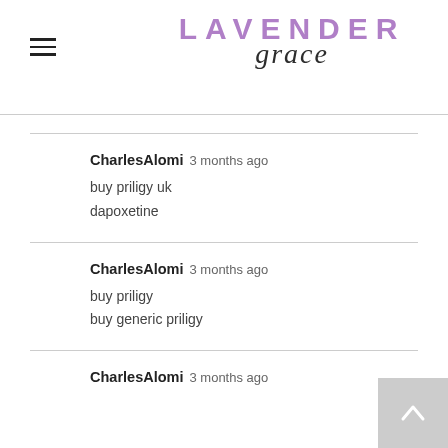LAVENDER grace
CharlesAlomi 3 months ago
buy priligy uk
dapoxetine
CharlesAlomi 3 months ago
buy priligy
buy generic priligy
CharlesAlomi 3 months ago